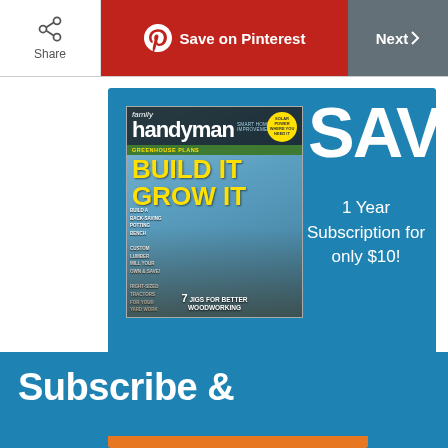Share | Save on Pinterest | Next
[Figure (illustration): Family Handyman magazine cover showing a greenhouse with 'BUILD IT GROW IT' headline]
SAVE
1 Year Subscription for only $10!
Subscribe &